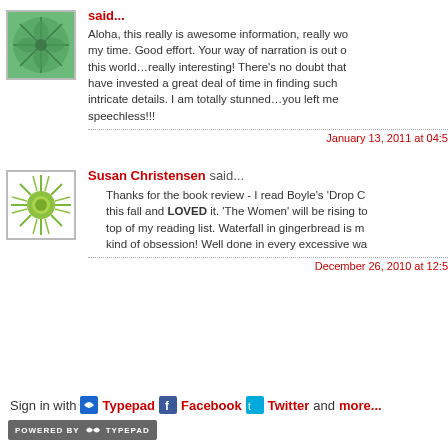[Figure (illustration): Green tropical leaf/palm avatar image with border]
Aloha, this really is awesome information, really worth my time. Good effort. Your way of narration is out of this world…really interesting! There's no doubt that you have invested a great deal of time in finding such intricate details. I am totally stunned…you left me speechless!!!
January 13, 2011 at 04:5
[Figure (illustration): Green sunburst/radial avatar image with border]
Susan Christensen said...
Thanks for the book review - I read Boyle's 'Drop C this fall and LOVED it. 'The Women' will be rising to top of my reading list. Waterfall in gingerbread is m kind of obsession! Well done in every excessive wa
December 26, 2010 at 12:5
Sign in with Typepad Facebook Twitter and more...
POWERED BY TypePad